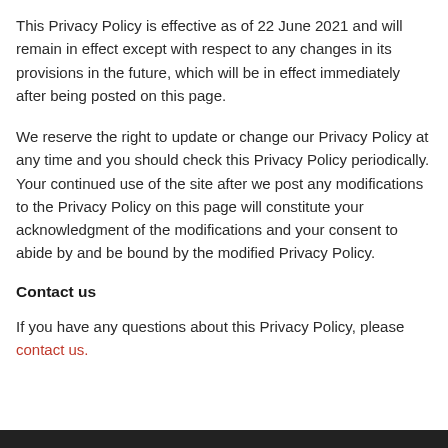This Privacy Policy is effective as of 22 June 2021 and will remain in effect except with respect to any changes in its provisions in the future, which will be in effect immediately after being posted on this page.
We reserve the right to update or change our Privacy Policy at any time and you should check this Privacy Policy periodically. Your continued use of the site after we post any modifications to the Privacy Policy on this page will constitute your acknowledgment of the modifications and your consent to abide by and be bound by the modified Privacy Policy.
Contact us
If you have any questions about this Privacy Policy, please contact us.